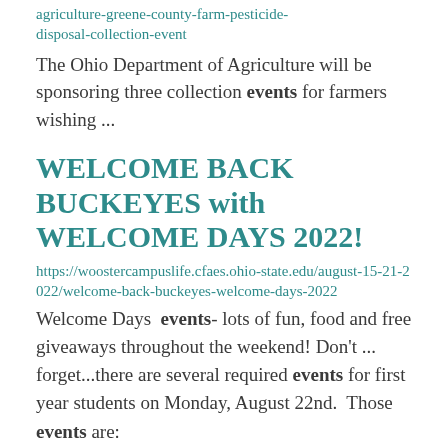agriculture-greene-county-farm-pesticide-disposal-collection-event
The Ohio Department of Agriculture will be sponsoring three collection events for farmers wishing ...
WELCOME BACK BUCKEYES with WELCOME DAYS 2022!
https://woostercampuslife.cfaes.ohio-state.edu/august-15-21-2022/welcome-back-buckeyes-welcome-days-2022
Welcome Days  events- lots of fun, food and free giveaways throughout the weekend! Don't ... forget...there are several required events for first year students on Monday, August 22nd.  Those events are: